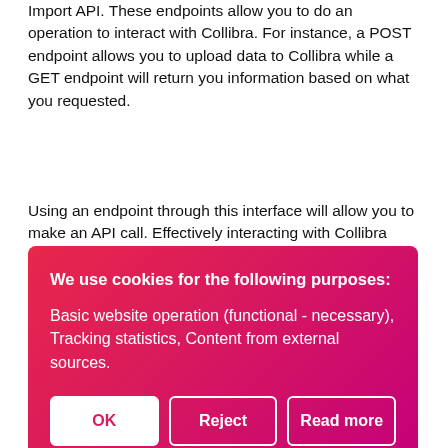Import API. These endpoints allow you to do an operation to interact with Collibra. For instance, a POST endpoint allows you to upload data to Collibra while a GET endpoint will return you information based on what you requested.
Using an endpoint through this interface will allow you to make an API call. Effectively interacting with Collibra through the API. The 3 first endpoints are used to import data through the data formats CSV, Excel or JSON. Clicking an endpoint will cause it to unfold. It will show you a series of parameters and responses. The parameters are what we will u
[Figure (screenshot): Cookie consent overlay with pink-to-red gradient background. Title: 'We use cookies for the following purposes:'. Body: 'Basic website operation (functional - necessary), Tracking statistics, Content from external sources.' Three buttons: OK, Reject, Read more.]
"/import/csv-job" or "/import/excel-job". In this example, we
will upload a CSV file, so we select the "/import/csv-job"